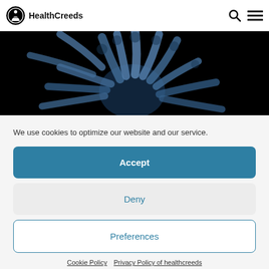[Figure (logo): HealthCreeds logo with circular icon showing stylized human figure and text 'HealthCreeds']
[Figure (photo): Close-up microscopic image of virus or bacteria structures on black background — blue translucent finger-like projections]
We use cookies to optimize our website and our service.
Accept
Deny
Preferences
Cookie Policy   Privacy Policy of healthcreeds